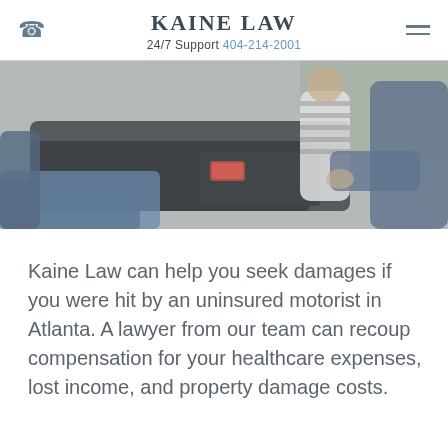KAINE LAW
24/7 Support 404-214-2001
[Figure (photo): Two people examining damage at the rear of a dark car after a collision, one wearing a striped shirt, outdoors with greenery in background]
Kaine Law can help you seek damages if you were hit by an uninsured motorist in Atlanta. A lawyer from our team can recoup compensation for your healthcare expenses, lost income, and property damage costs.